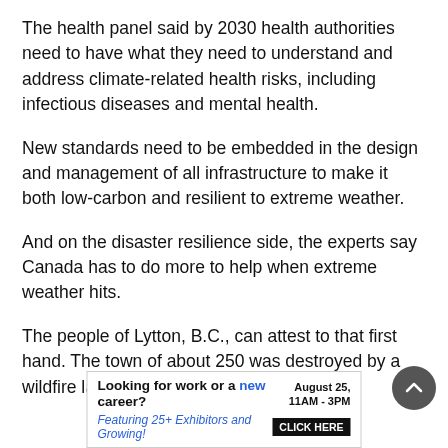The health panel said by 2030 health authorities need to have what they need to understand and address climate-related health risks, including infectious diseases and mental health.
New standards need to be embedded in the design and management of all infrastructure to make it both low-carbon and resilient to extreme weather.
And on the disaster resilience side, the experts say Canada has to do more to help when extreme weather hits.
The people of Lytton, B.C., can attest to that first hand. The town of about 250 was destroyed by a wildfire last June
[Figure (other): Advertisement banner: Looking for work or a new career? August 25, 11AM - 3PM. Featuring 25+ Exhibitors and Growing! CLICK HERE]